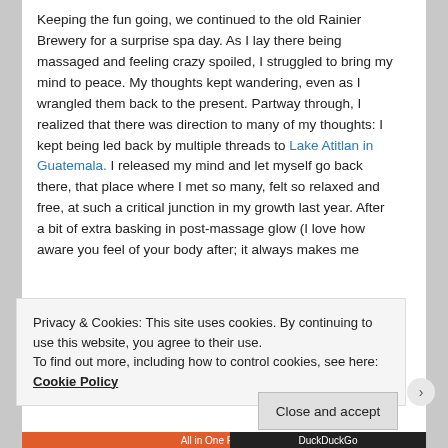Keeping the fun going, we continued to the old Rainier Brewery for a surprise spa day. As I lay there being massaged and feeling crazy spoiled, I struggled to bring my mind to peace. My thoughts kept wandering, even as I wrangled them back to the present. Partway through, I realized that there was direction to many of my thoughts: I kept being led back by multiple threads to Lake Atitlan in Guatemala. I released my mind and let myself go back there, that place where I met so many, felt so relaxed and free, at such a critical junction in my growth last year. After a bit of extra basking in post-massage glow (I love how aware you feel of your body after; it always makes me
Privacy & Cookies: This site uses cookies. By continuing to use this website, you agree to their use.
To find out more, including how to control cookies, see here: Cookie Policy
Close and accept